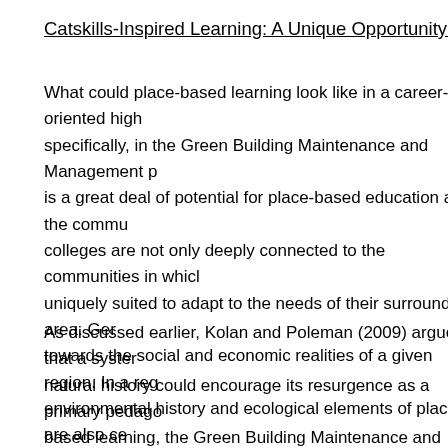Catskills-Inspired Learning: A Unique Opportunity for a Communi...
What could place-based learning look like in a career-oriented high school specifically, in the Green Building Maintenance and Management program? There is a great deal of potential for place-based education at the community college level; colleges are not only deeply connected to the communities in which they are located, but uniquely suited to adapt to the needs of their surrounding area. General education tends towards the social and economic realities of a given region. In a region where the environmental history and ecological elements of place are also central to social and economic connections, community colleges can facilitate the study of the ecology of place, and train a workforce that can create and defend sustainable human-land relations. The Green Building Maintenance and Management program at SUNY Sullivan can serve these goals.
As discussed earlier, Kolan and Poleman (2009) argue that a systemic study of natural history could encourage its resurgence as a primary pedagogy. Through place-based learning, the Green Building Maintenance and Management program can model a new approach when it comes to our view of design. The program, as a w...